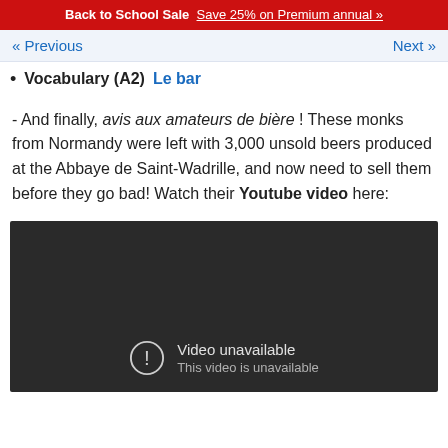Back to School Sale  Save 25% on Premium annual »
« Previous    Next »
Vocabulary (A2)  Le bar
- And finally, avis aux amateurs de bière ! These monks from Normandy were left with 3,000 unsold beers produced at the Abbaye de Saint-Wadrille, and now need to sell them before they go bad! Watch their Youtube video here:
[Figure (screenshot): Embedded YouTube video player showing 'Video unavailable - This video is unavailable' error message on a dark background]